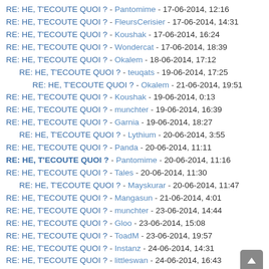RE: HE, T'ECOUTE QUOI ? - Pantomime - 17-06-2014, 12:16
RE: HE, T'ECOUTE QUOI ? - FleursCerisier - 17-06-2014, 14:31
RE: HE, T'ECOUTE QUOI ? - Koushak - 17-06-2014, 16:24
RE: HE, T'ECOUTE QUOI ? - Wondercat - 17-06-2014, 18:39
RE: HE, T'ECOUTE QUOI ? - Okalem - 18-06-2014, 17:12
RE: HE, T'ECOUTE QUOI ? - teuqats - 19-06-2014, 17:25
RE: HE, T'ECOUTE QUOI ? - Okalem - 21-06-2014, 19:51
RE: HE, T'ECOUTE QUOI ? - Koushak - 19-06-2014, 0:13
RE: HE, T'ECOUTE QUOI ? - munchter - 19-06-2014, 16:39
RE: HE, T'ECOUTE QUOI ? - Garnia - 19-06-2014, 18:27
RE: HE, T'ECOUTE QUOI ? - Lythium - 20-06-2014, 3:55
RE: HE, T'ECOUTE QUOI ? - Panda - 20-06-2014, 11:11
RE: HE, T'ECOUTE QUOI ? - Pantomime - 20-06-2014, 11:16
RE: HE, T'ECOUTE QUOI ? - Tales - 20-06-2014, 11:30
RE: HE, T'ECOUTE QUOI ? - Mayskurar - 20-06-2014, 11:47
RE: HE, T'ECOUTE QUOI ? - Mangasun - 21-06-2014, 4:01
RE: HE, T'ECOUTE QUOI ? - munchter - 23-06-2014, 14:44
RE: HE, T'ECOUTE QUOI ? - Gloo - 23-06-2014, 15:08
RE: HE, T'ECOUTE QUOI ? - ToadM - 23-06-2014, 19:57
RE: HE, T'ECOUTE QUOI ? - Instanz - 24-06-2014, 14:31
RE: HE, T'ECOUTE QUOI ? - littleswan - 24-06-2014, 16:43
RE: HE, T'ECOUTE QUOI ? - matth38 - 25-06-2014, 19:29